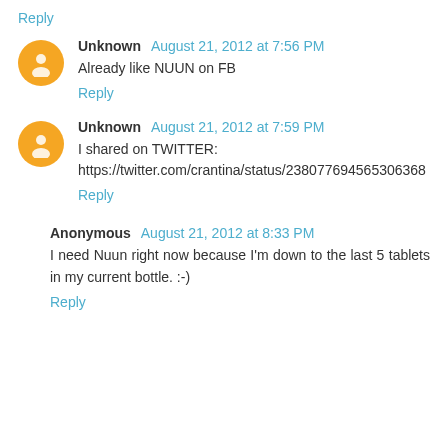Reply
Unknown August 21, 2012 at 7:56 PM
Already like NUUN on FB
Reply
Unknown August 21, 2012 at 7:59 PM
I shared on TWITTER: https://twitter.com/crantina/status/238077694565306368
Reply
Anonymous August 21, 2012 at 8:33 PM
I need Nuun right now because I'm down to the last 5 tablets in my current bottle. :-)
Reply